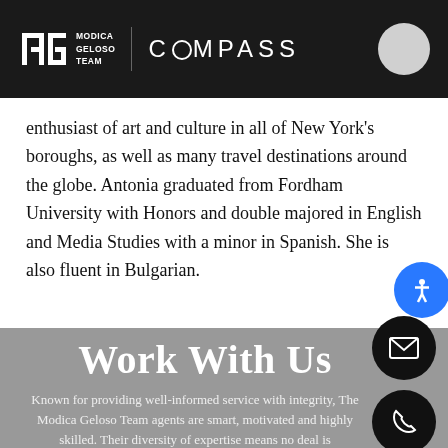Modica Geloso Team | COMPASS
enthusiast of art and culture in all of New York's boroughs, as well as many travel destinations around the globe. Antonia graduated from Fordham University with Honors and double majored in English and Media Studies with a minor in Spanish. She is also fluent in Bulgarian.
Work With Us
Known for providing well-informed service with integrity, The Modica Geloso Team agents are smart, motivated and highly skilled. Their diversity of expertise means no deal is